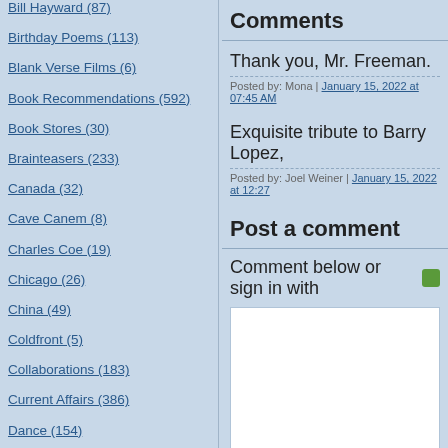Bill Hayward (87)
Birthday Poems (113)
Blank Verse Films (6)
Book Recommendations (592)
Book Stores (30)
Brainteasers (233)
Canada (32)
Cave Canem (8)
Charles Coe (19)
Chicago (26)
China (49)
Coldfront (5)
Collaborations (183)
Current Affairs (386)
Dance (154)
Daniel Nester (51)
Dante Di Stefano (72)
David Yezzi (30)
Comments
Thank you, Mr. Freeman.
Posted by: Mona | January 15, 2022 at 07:45 AM
Exquisite tribute to Barry Lopez,
Posted by: Joel Weiner | January 15, 2022 at 12:27
Post a comment
Comment below or sign in with